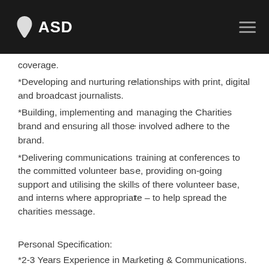ASD
coverage.
*Developing and nurturing relationships with print, digital and broadcast journalists.
*Building, implementing and managing the Charities brand and ensuring all those involved adhere to the brand.
*Delivering communications training at conferences to the committed volunteer base, providing on-going support and utilising the skills of there volunteer base, and interns where appropriate – to help spread the charities message.
Personal Specification:
*2-3 Years Experience in Marketing & Communications.
*Experience working with National & Local